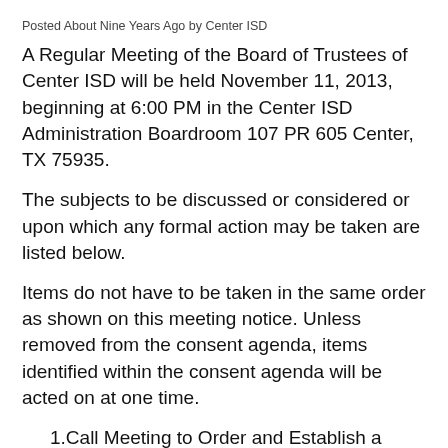Posted About Nine Years Ago by Center ISD
A Regular Meeting of the Board of Trustees of Center ISD will be held November 11, 2013, beginning at 6:00 PM in the Center ISD Administration Boardroom 107 PR 605 Center, TX 75935.
The subjects to be discussed or considered or upon which any formal action may be taken are listed below.
Items do not have to be taken in the same order as shown on this meeting notice. Unless removed from the consent agenda, items identified within the consent agenda will be acted on at one time.
1.Call Meeting to Order and Establish a Quorum
2.Invocation and Pledge of Allegiance